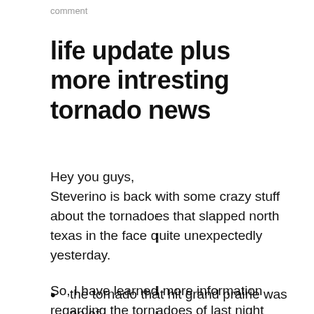comment
life update plus more intresting tornado news
Hey you guys,
Steverino is back with some crazy stuff about the tornadoes that slapped north texas in the face quite unexpectedly yesterday.

So, I have learned more information regarding the tornadoes of last night while watching the news. Here are a list of facts below:
the tornado that hit grand prairie was an ef